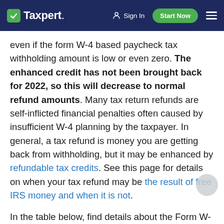Taxpert. Sign In Start Now
even if the form W-4 based paycheck tax withholding amount is low or even zero. The enhanced credit has not been brought back for 2022, so this will decrease to normal refund amounts. Many tax return refunds are self-inflicted financial penalties often caused by insufficient W-4 planning by the taxpayer. In general, a tax refund is money you are getting back from withholding, but it may be enhanced by refundable tax credits. See this page for details on when your tax refund may be the result of free IRS money and when it is not.
In the table below, find details about the Form W-4 and our various W-4 creator tools. We want to help you keep more of your hard-earned money during